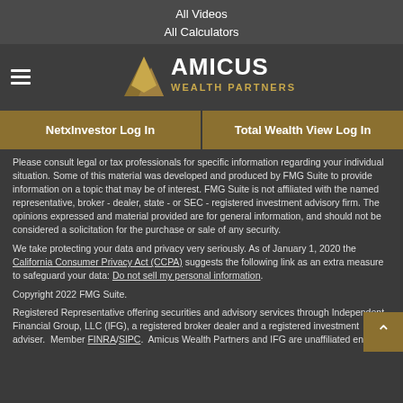All Videos
All Calculators
[Figure (logo): Amicus Wealth Partners logo with gold triangle/mountain icon and company name]
NetxInvestor Log In
Total Wealth View Log In
Please consult legal or tax professionals for specific information regarding your individual situation. Some of this material was developed and produced by FMG Suite to provide information on a topic that may be of interest. FMG Suite is not affiliated with the named representative, broker - dealer, state - or SEC - registered investment advisory firm. The opinions expressed and material provided are for general information, and should not be considered a solicitation for the purchase or sale of any security.
We take protecting your data and privacy very seriously. As of January 1, 2020 the California Consumer Privacy Act (CCPA) suggests the following link as an extra measure to safeguard your data: Do not sell my personal information.
Copyright 2022 FMG Suite.
Registered Representative offering securities and advisory services through Independent Financial Group, LLC (IFG), a registered broker dealer and a registered investment adviser.  Member FINRA/SIPC.  Amicus Wealth Partners and IFG are unaffiliated entities.